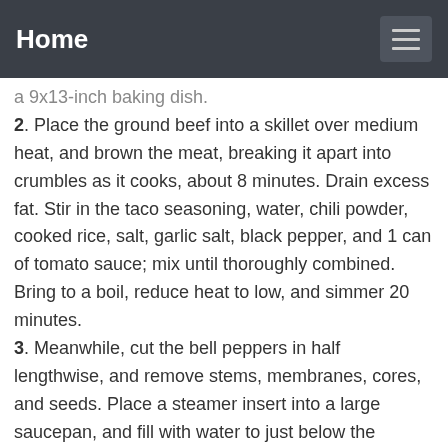Home
a 9x13-inch baking dish.
2. Place the ground beef into a skillet over medium heat, and brown the meat, breaking it apart into crumbles as it cooks, about 8 minutes. Drain excess fat. Stir in the taco seasoning, water, chili powder, cooked rice, salt, garlic salt, black pepper, and 1 can of tomato sauce; mix until thoroughly combined. Bring to a boil, reduce heat to low, and simmer 20 minutes.
3. Meanwhile, cut the bell peppers in half lengthwise, and remove stems, membranes, cores, and seeds. Place a steamer insert into a large saucepan, and fill with water to just below the bottom of the steamer. Cover, and bring the water to a boil over high heat. Place the peppers into the steamer insert, cover the pan, and steam until just tender, 3 to 5 minutes.
4. Place the steamed peppers into the prepared baking dish, and fill lightly with the meat filling. Press 1 cube of